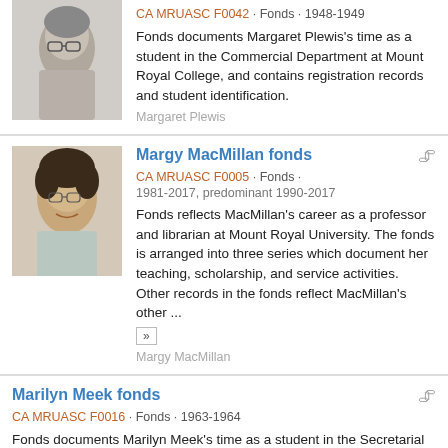[Figure (photo): Black and white portrait photo of Margaret Plewis]
CA MRUASC F0042 · Fonds · 1948-1949
Fonds documents Margaret Plewis's time as a student in the Commercial Department at Mount Royal College, and contains registration records and student identification.
Margaret Plewis
[Figure (photo): Color portrait photo of Margy MacMillan]
Margy MacMillan fonds
CA MRUASC F0005 · Fonds · 1981-2017, predominant 1990-2017
Fonds reflects MacMillan's career as a professor and librarian at Mount Royal University. The fonds is arranged into three series which document her teaching, scholarship, and service activities. Other records in the fonds reflect MacMillan's other ...
Margy MacMillan
Marilyn Meek fonds
CA MRUASC F0016 · Fonds · 1963-1964
Fonds documents Marilyn Meek's time as a student in the Secretarial Science program at Mount Royal College. Fonds consists of class notes and handouts, correspondence, event ...